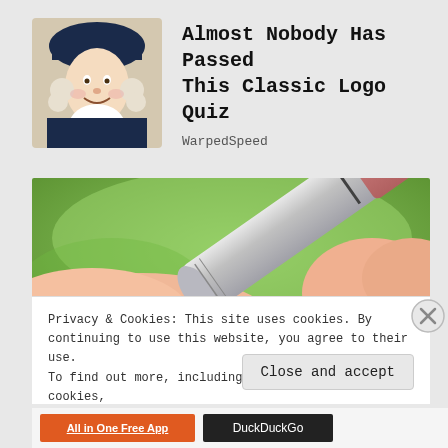[Figure (photo): Quaker Oats man mascot portrait thumbnail]
Almost Nobody Has Passed This Classic Logo Quiz
WarpedSpeed
[Figure (photo): Close-up photo of a hand holding a small metallic tube/pen against a blurred green background]
Privacy & Cookies: This site uses cookies. By continuing to use this website, you agree to their use.
To find out more, including how to control cookies, see here: Cookie Policy
Close and accept